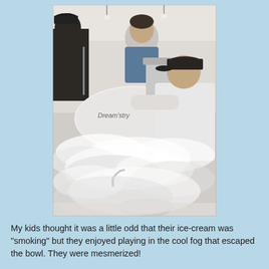[Figure (photo): Photo of people at a Dreamistry ice cream shop. A worker in a white t-shirt and dark cap is pouring liquid nitrogen into a machine, creating a dramatic fog/smoke effect that billows across the counter. Other customers are watching in the background.]
My kids thought it was a little odd that their ice-cream was "smoking" but they enjoyed playing in the cool fog that escaped the bowl. They were mesmerized!